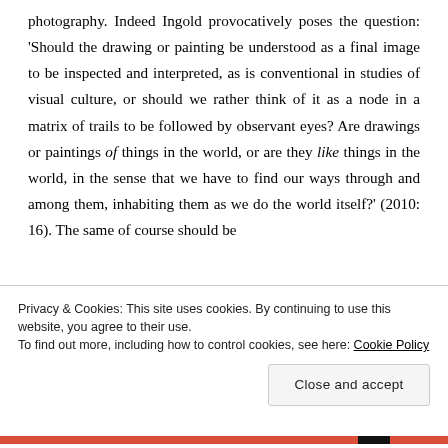photography. Indeed Ingold provocatively poses the question: 'Should the drawing or painting be understood as a final image to be inspected and interpreted, as is conventional in studies of visual culture, or should we rather think of it as a node in a matrix of trails to be followed by observant eyes? Are drawings or paintings of things in the world, or are they like things in the world, in the sense that we have to find our ways through and among them, inhabiting them as we do the world itself?' (2010: 16). The same of course should be
Privacy & Cookies: This site uses cookies. By continuing to use this website, you agree to their use.
To find out more, including how to control cookies, see here: Cookie Policy
Close and accept